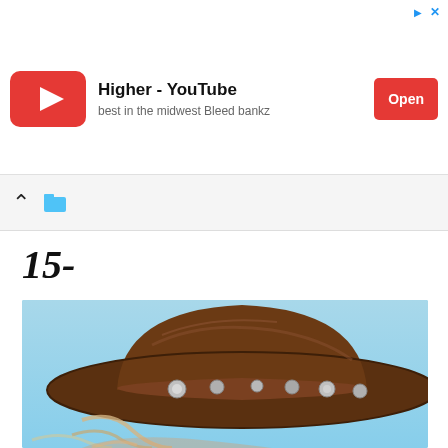[Figure (screenshot): YouTube ad banner showing red YouTube play button logo, title 'Higher - YouTube', subtitle 'best in the midwest Bleed bankz', and a red 'Open' button on the right. Small blue arrow and X icons in top right corner.]
[Figure (other): Navigation bar with up caret chevron and a small tab/window icon]
15-
[Figure (photo): Close-up photo of a woman wearing a brown leather cowboy hat with silver concho studs on the band, with blonde hair blowing in the wind against a light blue sky background.]